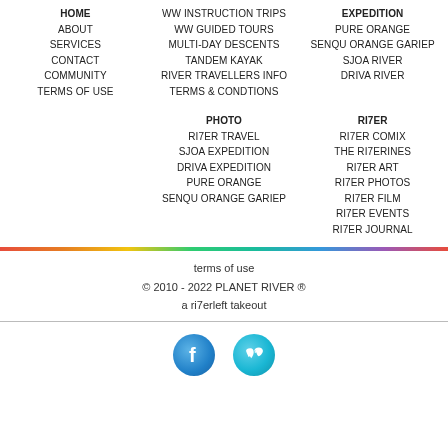HOME
ABOUT
SERVICES
CONTACT
COMMUNITY
TERMS OF USE
WW INSTRUCTION TRIPS
WW GUIDED TOURS
MULTI-DAY DESCENTS
TANDEM KAYAK
RIVER TRAVELLERS INFO
TERMS & CONDTIONS
EXPEDITION
PURE ORANGE
SENQU ORANGE GARIEP
SJOA RIVER
DRIVA RIVER
PHOTO
RI7ER TRAVEL
SJOA EXPEDITION
DRIVA EXPEDITION
PURE ORANGE
SENQU ORANGE GARIEP
RI7ER
RI7ER COMIX
THE RI7ERINES
RI7ER ART
RI7ER PHOTOS
RI7ER FILM
RI7ER EVENTS
RI7ER JOURNAL
terms of use
© 2010 - 2022 PLANET RIVER ®
a ri7erleft takeout
[Figure (logo): Facebook and Vimeo social media icons]